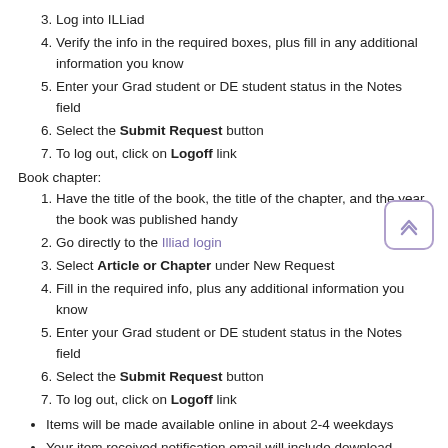3. Log into ILLiad
4. Verify the info in the required boxes, plus fill in any additional information you know
5. Enter your Grad student or DE student status in the Notes field
6. Select the Submit Request button
7. To log out, click on Logoff link
Book chapter:
1. Have the title of the book, the title of the chapter, and the year the book was published handy
2. Go directly to the Illiad login
3. Select Article or Chapter under New Request
4. Fill in the required info, plus any additional information you know
5. Enter your Grad student or DE student status in the Notes field
6. Select the Submit Request button
7. To log out, click on Logoff link
Items will be made available online in about 2-4 weekdays
Your item received notification email will include download instructions
Print or save documents to your own files
Any questions or concerns about Document Delivery should be submitted to the